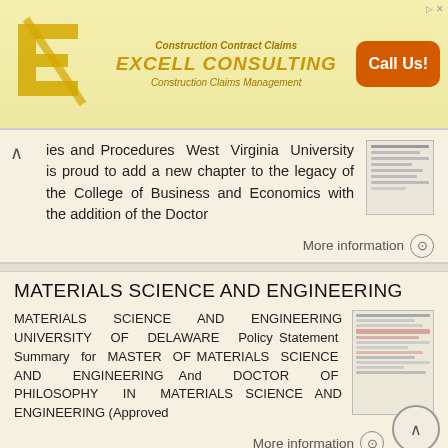[Figure (other): Advertisement banner for Excell Consulting showing logo, 'Construction Contract Claims', company name 'EXCELL CONSULTING', 'Construction Claims Management', and orange 'Call Us!' button]
ies and Procedures West Virginia University is proud to add a new chapter to the legacy of the College of Business and Economics with the addition of the Doctor
More information →
MATERIALS SCIENCE AND ENGINEERING
MATERIALS SCIENCE AND ENGINEERING UNIVERSITY OF DELAWARE Policy Statement Summary for MASTER OF MATERIALS SCIENCE AND ENGINEERING And DOCTOR OF PHILOSOPHY IN MATERIALS SCIENCE AND ENGINEERING (Approved
More information →